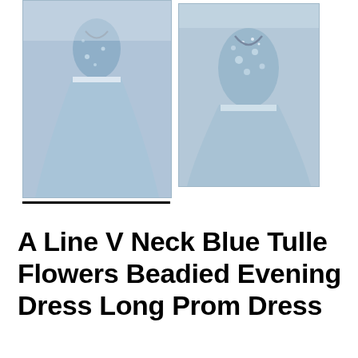[Figure (photo): Two thumbnail photos of a blue tulle prom dress on a mannequin. First thumbnail is larger and has a black underline beneath it indicating it is selected.]
A Line V Neck Blue Tulle Flowers Beadied Evening Dress Long Prom Dress
$198.00
Color : Show As Picture 1
[Figure (photo): Two small color swatch thumbnails of the dress, showing the same blue tulle dress from two angles.]